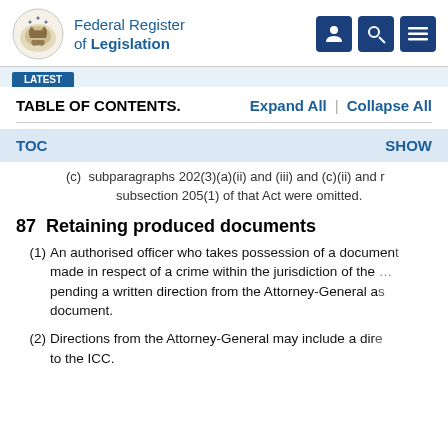Federal Register of Legislation
(c) subparagraphs 202(3)(a)(ii) and (iii) and (c)(ii) and ... subsection 205(1) of that Act were omitted.
87 Retaining produced documents
(1) An authorised officer who takes possession of a document made in respect of a crime within the jurisdiction of the ... pending a written direction from the Attorney-General as ... document.
(2) Directions from the Attorney-General may include a dire... to the ICC.